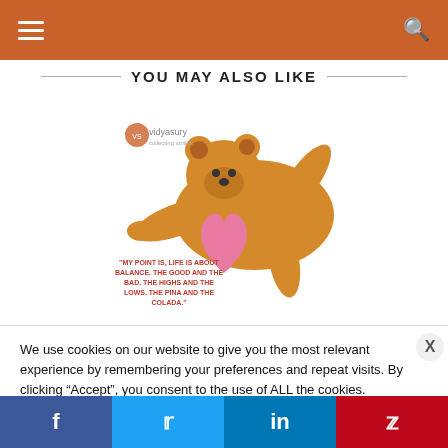Navigation header with hamburger menu and search icon
YOU MAY ALSO LIKE
[Figure (illustration): Blog post thumbnail showing a cartoon bear in a yoga/balance pose holding a pink heart, with Vidya Sury branding and a quote about balance: "MY POINT IS, LIFE IS ABOUT BALANCE. THE GOOD AND THE BAD, THE HIGHS AND THE LOWS, THE PINA AND THE COLADA."]
We use cookies on our website to give you the most relevant experience by remembering your preferences and repeat visits. By clicking “Accept”, you consent to the use of ALL the cookies.
Do not sell my personal information.
Social share bar: Facebook, Twitter, LinkedIn, Pinterest